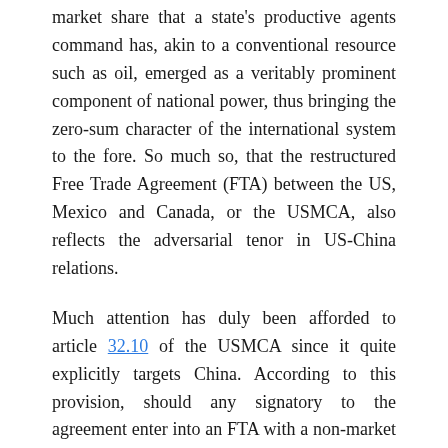market share that a state's productive agents command has, akin to a conventional resource such as oil, emerged as a veritably prominent component of national power, thus bringing the zero-sum character of the international system to the fore. So much so, that the restructured Free Trade Agreement (FTA) between the US, Mexico and Canada, or the USMCA, also reflects the adversarial tenor in US-China relations.
Much attention has duly been afforded to article 32.10 of the USMCA since it quite explicitly targets China. According to this provision, should any signatory to the agreement enter into an FTA with a non-market economy (read China), the other parties reserve the right to dismantle the USMCA following a six-month notice. Continue reading →